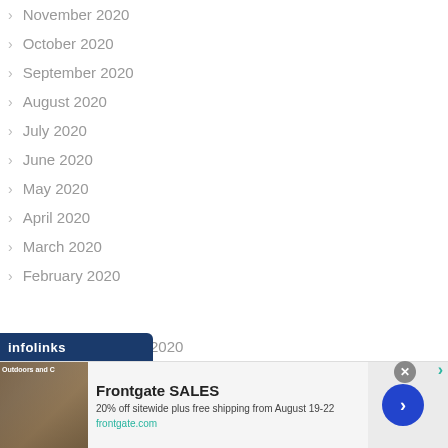November 2020
October 2020
September 2020
August 2020
July 2020
June 2020
May 2020
April 2020
March 2020
February 2020
[Figure (screenshot): Infolinks advertising banner for Frontgate SALES: 20% off sitewide plus free shipping from August 19-22, frontgate.com]
2020